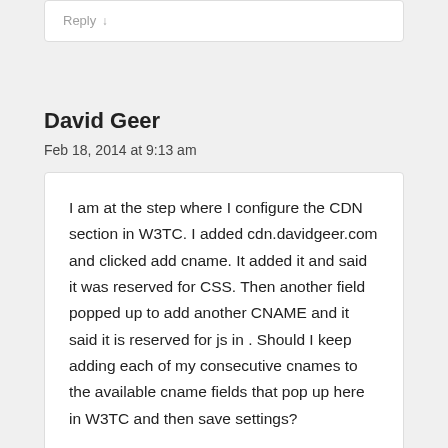Reply ↓
David Geer
Feb 18, 2014 at 9:13 am
I am at the step where I configure the CDN section in W3TC. I added cdn.davidgeer.com and clicked add cname. It added it and said it was reserved for CSS. Then another field popped up to add another CNAME and it said it is reserved for js in . Should I keep adding each of my consecutive cnames to the available cname fields that pop up here in W3TC and then save settings?